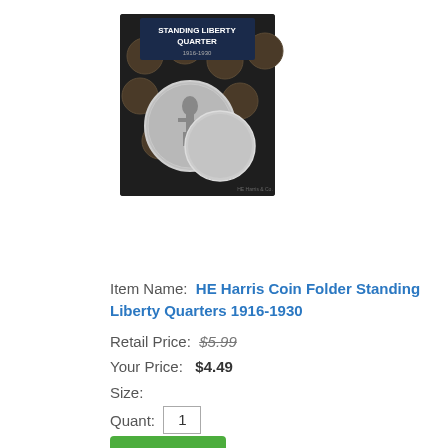[Figure (photo): Standing Liberty Quarter coin folder book cover showing coins on dark background with title text]
Item Name:  HE Harris Coin Folder Standing Liberty Quarters 1916-1930
Retail Price:  $5.99
Your Price:  $4.49
Size:
Quant:  1
ORDER
[Figure (photo): Washington quarter coin folder book cover, partially visible at bottom]